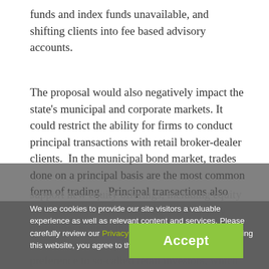funds and index funds unavailable, and shifting clients into fee based advisory accounts.
The proposal would also negatively impact the state's municipal and corporate markets. It could restrict the ability for firms to conduct principal transactions with retail broker-dealer clients. In the municipal bond market, trades done on a principal basis are the most common form of trading. Principal transactions also We use cookies to provide our site visitors a valuable experience as well as relevant content and services. Please carefully review our Privacy Policy and Terms of Use; by using this website, you agree to the information set forth therein. (including IPOs). Many municipal issuers, including many in Massachusetts, require underwriters to give preference [Accept button obscures text] so-called re[Accept button obscures text]dy investor base to the issuer, and efficient pricing to the investor. Without further clarification, many broker-